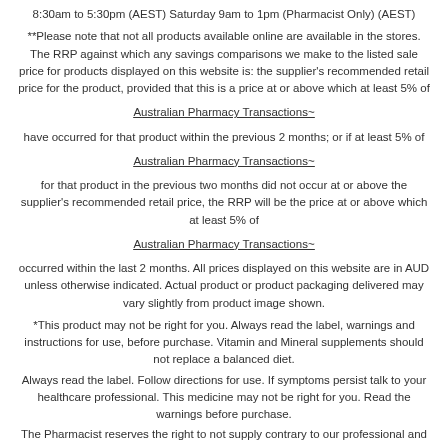8:30am to 5:30pm (AEST) Saturday 9am to 1pm (Pharmacist Only) (AEST)
**Please note that not all products available online are available in the stores. The RRP against which any savings comparisons we make to the listed sale price for products displayed on this website is: the supplier's recommended retail price for the product, provided that this is a price at or above which at least 5% of
Australian Pharmacy Transactions~
have occurred for that product within the previous 2 months; or if at least 5% of
Australian Pharmacy Transactions~
for that product in the previous two months did not occur at or above the supplier's recommended retail price, the RRP will be the price at or above which at least 5% of
Australian Pharmacy Transactions~
occurred within the last 2 months. All prices displayed on this website are in AUD unless otherwise indicated. Actual product or product packaging delivered may vary slightly from product image shown.
*This product may not be right for you. Always read the label, warnings and instructions for use, before purchase. Vitamin and Mineral supplements should not replace a balanced diet.
Always read the label. Follow directions for use. If symptoms persist talk to your healthcare professional. This medicine may not be right for you. Read the warnings before purchase.
The Pharmacist reserves the right to not supply contrary to our professional and ethical obligation.
Sunscreen is only used for one element of protection.